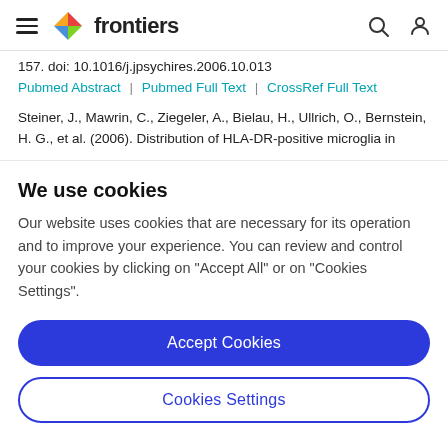frontiers
157. doi: 10.1016/j.jpsychires.2006.10.013
Pubmed Abstract | Pubmed Full Text | CrossRef Full Text
Steiner, J., Mawrin, C., Ziegeler, A., Bielau, H., Ullrich, O., Bernstein, H. G., et al. (2006). Distribution of HLA-DR-positive microglia in
We use cookies
Our website uses cookies that are necessary for its operation and to improve your experience. You can review and control your cookies by clicking on "Accept All" or on "Cookies Settings".
Accept Cookies
Cookies Settings